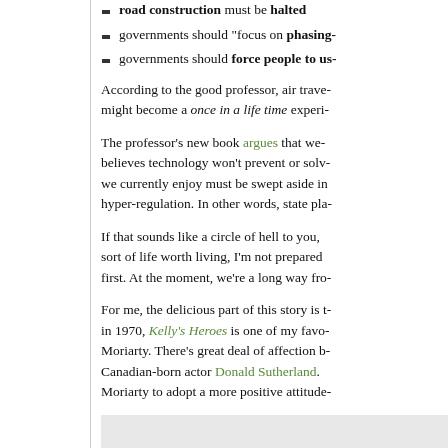road construction must be halted
governments should “focus on phasing-
governments should force people to us-
According to the good professor, air trave- might become a once in a life time experi-
The professor’s new book argues that we- believes technology won’t prevent or solv- we currently enjoy must be swept aside in hyper-regulation. In other words, state pla-
If that sounds like a circle of hell to you, sort of life worth living, I’m not prepared first. At the moment, we’re a long way fro-
For me, the delicious part of this story is in 1970, Kelly’s Heroes is one of my favo- Moriarty. There’s great deal of affection b- Canadian-born actor Donald Sutherland. Moriarty to adopt a more positive attitude-
[Figure (other): Gray box at bottom of page]